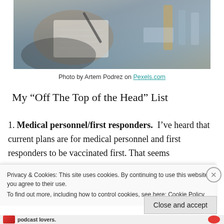[Figure (photo): Partial view of a person writing in a notepad with a pen, with blurred background possibly showing medical/office items]
Photo by Artem Podrez on Pexels.com
My “Off The Top of the Head” List
Medical personnel/first responders.  I’ve heard that current plans are for medical personnel and first responders to be vaccinated first. That seems
Privacy & Cookies: This site uses cookies. By continuing to use this website, you agree to their use.
To find out more, including how to control cookies, see here: Cookie Policy
Close and accept
podcast lovers.